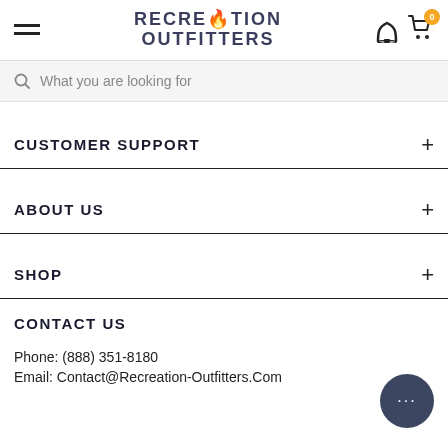RECREATION OUTFITTERS
What you are looking for
CUSTOMER SUPPORT
ABOUT US
SHOP
CONTACT US
Phone: (888) 351-8180
Email: Contact@Recreation-Outfitters.Com